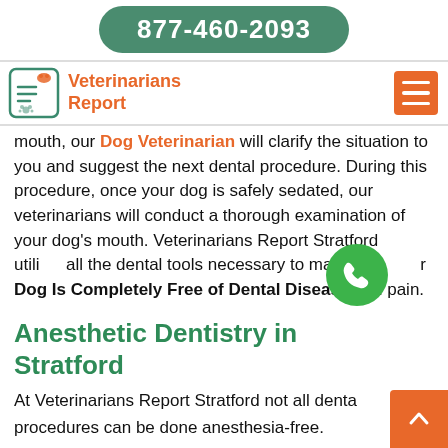877-460-2093
Veterinarians Report
mouth, our Dog Veterinarian will clarify the situation to you and suggest the next dental procedure. During this procedure, once your dog is safely sedated, our veterinarians will conduct a thorough examination of your dog's mouth. Veterinarians Report Stratford utilizes all the dental tools necessary to make sure your Dog Is Completely Free of Dental Disease and pain.
Anesthetic Dentistry in Stratford
At Veterinarians Report Stratford not all dental procedures can be done anesthesia-free.